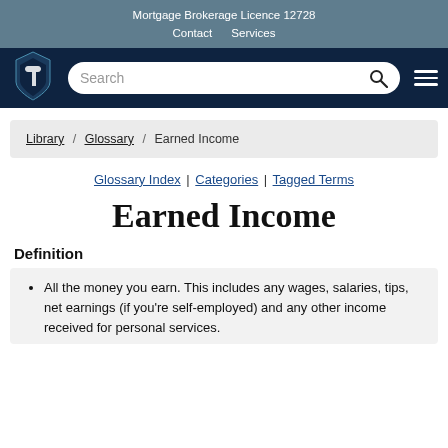Mortgage Brokerage Licence 12728
Contact   Services
Search
Library / Glossary / Earned Income
Glossary Index | Categories | Tagged Terms
Earned Income
Definition
All the money you earn. This includes any wages, salaries, tips, net earnings (if you're self-employed) and any other income received for personal services.